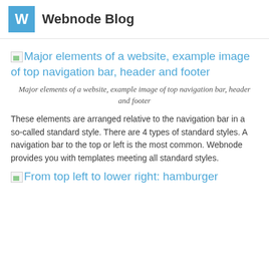W  Webnode Blog
[Figure (illustration): Broken image placeholder link: Major elements of a website, example image of top navigation bar, header and footer]
Major elements of a website, example image of top navigation bar, header and footer
These elements are arranged relative to the navigation bar in a so-called standard style. There are 4 types of standard styles. A navigation bar to the top or left is the most common. Webnode provides you with templates meeting all standard styles.
[Figure (illustration): Broken image placeholder link: From top left to lower right: hamburger...]